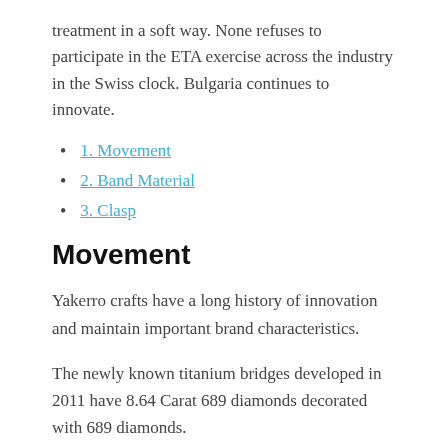treatment in a soft way. None refuses to participate in the ETA exercise across the industry in the Swiss clock. Bulgaria continues to innovate.
1. Movement
2. Band Material
3. Clasp
Movement
Yakerro crafts have a long history of innovation and maintain important brand characteristics.
The newly known titanium bridges developed in 2011 have 8.64 Carat 689 diamonds decorated with 689 diamonds.